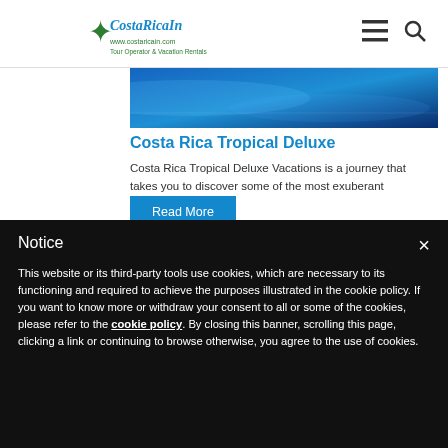CostaRicaIn - Tour Operator & Vacation Rentals
[Figure (photo): Blue tropical water/ocean scene photo banner]
Costa Rica Tropical Deluxe
Costa Rica Tropical Deluxe Vacations is a journey that takes you to discover some of the most exuberant places and ...
Read More
Notice
This website or its third-party tools use cookies, which are necessary to its functioning and required to achieve the purposes illustrated in the cookie policy. If you want to know more or withdraw your consent to all or some of the cookies, please refer to the cookie policy. By closing this banner, scrolling this page, clicking a link or continuing to browse otherwise, you agree to the use of cookies.